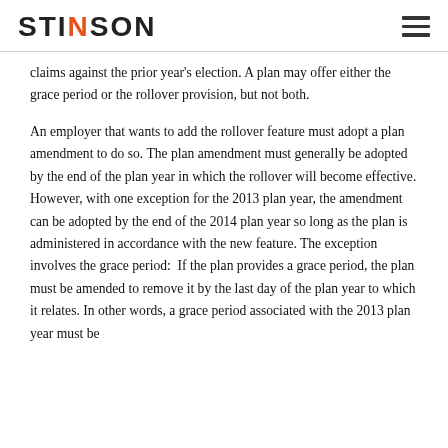STINSON
claims against the prior year's election. A plan may offer either the grace period or the rollover provision, but not both.
An employer that wants to add the rollover feature must adopt a plan amendment to do so. The plan amendment must generally be adopted by the end of the plan year in which the rollover will become effective. However, with one exception for the 2013 plan year, the amendment can be adopted by the end of the 2014 plan year so long as the plan is administered in accordance with the new feature. The exception involves the grace period:  If the plan provides a grace period, the plan must be amended to remove it by the last day of the plan year to which it relates. In other words, a grace period associated with the 2013 plan year must be